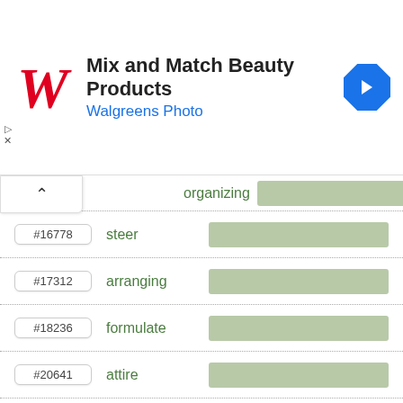[Figure (screenshot): Walgreens Photo advertisement banner with red script W logo, title 'Mix and Match Beauty Products', subtitle 'Walgreens Photo' in blue, and a blue navigation arrow icon on the right.]
#16778  steer
#17312  arranging
#18236  formulate
#20641  attire
#20940  mould
#21495  invent
#22251  devise
#23550  maneuver